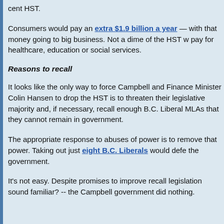cent HST.
Consumers would pay an extra $1.9 billion a year — with that money going to big business. Not a dime of the HST would pay for healthcare, education or social services.
Reasons to recall
It looks like the only way to force Campbell and Finance Minister Colin Hansen to drop the HST is to threaten their legislative majority and, if necessary, recall enough B.C. Liberal MLAs that they cannot remain in government.
The appropriate response to abuses of power is to remove that power. Taking out just eight B.C. Liberals would defeat the government.
It's not easy. Despite promises to improve recall legislation -- sound familiar? -- the Campbell government did nothing.